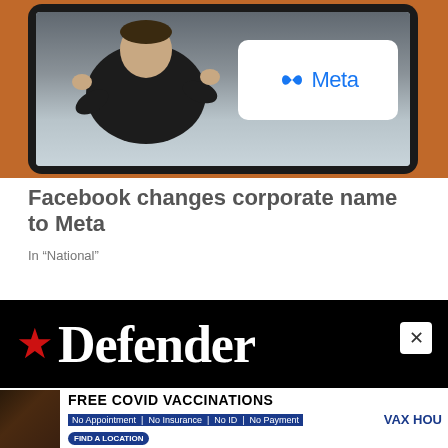[Figure (photo): A tablet screen showing Mark Zuckerberg presenting with the Meta logo (infinity symbol + 'Meta' text) displayed on a white card behind him. The tablet has a dark bezel and is photographed against an orange background.]
Facebook changes corporate name to Meta
In “National”
[Figure (logo): Defender newspaper logo: red star icon followed by 'Defender' in large white serif bold font on a black background bar. A white close (x) button appears at the right.]
[Figure (photo): Advertisement banner: FREE COVID VACCINATIONS - No Appointment | No Insurance | No ID | No Payment. FIND A LOCATION. VAX HOU. Shows a woman's face on the left side.]